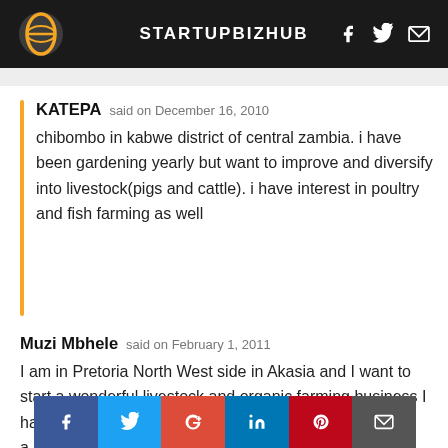STARTUPBIZHUB
KATEPA said on December 16, 2010
chibombo in kabwe district of central zambia. i have been gardening yearly but want to improve and diversify into livestock(pigs and cattle). i have interest in poultry and fish farming as well
Muzi Mbhele said on February 1, 2011
I am in Pretoria North West side in Akasia and I want to start a wonderful livestock and organic farming business I have an insight in both as I grew up as a [child working in the] fields at